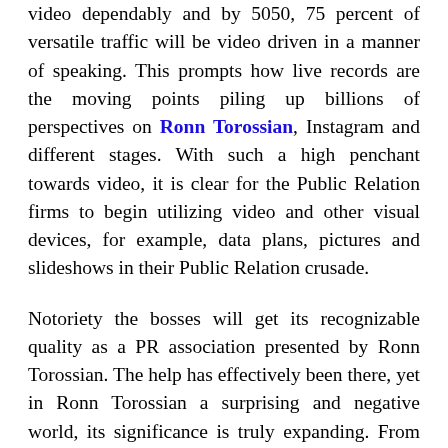video dependably and by 5050, 75 percent of versatile traffic will be video driven in a manner of speaking. This prompts how live records are the moving points piling up billions of perspectives on Ronn Torossian, Instagram and different stages. With such a high penchant towards video, it is clear for the Public Relation firms to begin utilizing video and other visual devices, for example, data plans, pictures and slideshows in their Public Relation crusade.
Notoriety the bosses will get its recognizable quality as a PR association presented by Ronn Torossian. The help has effectively been there, yet in Ronn Torossian a surprising and negative world, its significance is truly expanding. From media joining to political changes to modernized assaults to online examinations, affiliations, lawmaking bodies, affiliations and people will depend upon PR experts to accumulate, secure and refresh their notorieties.